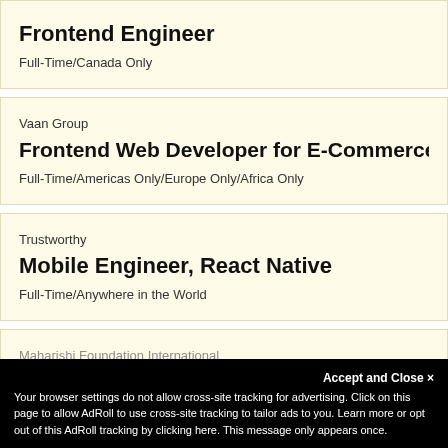Frontend Engineer — Full-Time/Canada Only
Vaan Group — Frontend Web Developer for E-Commerce — Full-Time/Americas Only/Europe Only/Africa Only
Trustworthy — Mobile Engineer, React Native — Full-Time/Anywhere in the World
Maharishi Foundation International — Full-Time/Anywhere in the World
Accept and Close ✕
Your browser settings do not allow cross-site tracking for advertising. Click on this page to allow AdRoll to use cross-site tracking to tailor ads to you. Learn more or opt out of this AdRoll tracking by clicking here. This message only appears once.